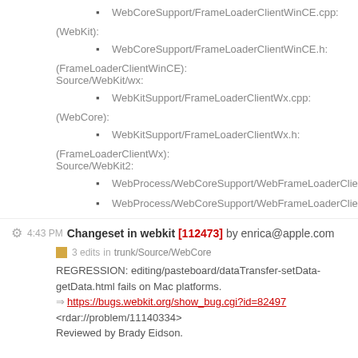WebCoreSupport/FrameLoaderClientWinCE.cpp:
(WebKit):
WebCoreSupport/FrameLoaderClientWinCE.h:
(FrameLoaderClientWinCE):
Source/WebKit/wx:
WebKitSupport/FrameLoaderClientWx.cpp:
(WebCore):
WebKitSupport/FrameLoaderClientWx.h:
(FrameLoaderClientWx):
Source/WebKit2:
WebProcess/WebCoreSupport/WebFrameLoaderClient.cpp:
WebProcess/WebCoreSupport/WebFrameLoaderClient.h:
4:43 PM Changeset in webkit [112473] by enrica@apple.com
3 edits  in trunk/Source/WebCore
REGRESSION: editing/pasteboard/dataTransfer-setData-getData.html fails on Mac platforms.
https://bugs.webkit.org/show_bug.cgi?id=82497
<rdar://problem/11140334>
Reviewed by Brady Eidson.